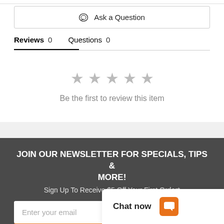Ask a Question
Reviews 0   Questions 0
Be the first to review this item
JOIN OUR NEWSLETTER FOR SPECIALS, TIPS & MORE!
Sign Up To Receive $5 Off Your First Order*
Enter your email
Chat now